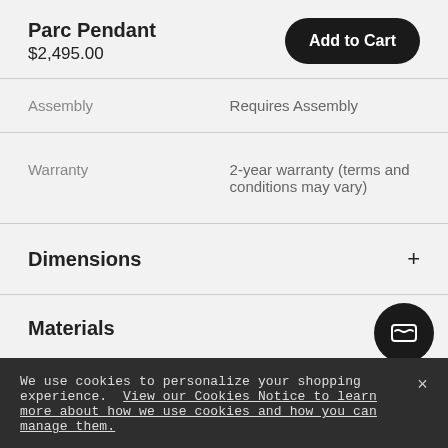Parc Pendant
$2,495.00
| Assembly | Requires Assembly |
| Warranty | 2-year warranty (terms and conditions may vary) |
Dimensions
Materials
We use cookies to personalize your shopping experience. View our Cookies Notice to learn more about how we use cookies and how you can manage them.